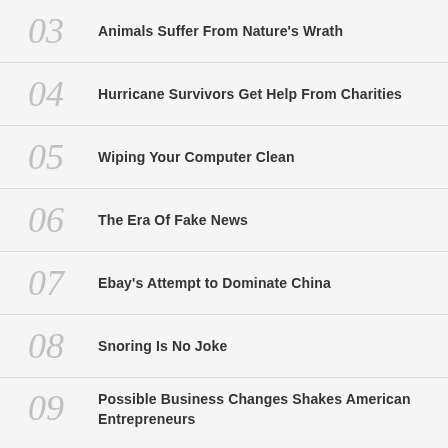03 Animals Suffer From Nature's Wrath
04 Hurricane Survivors Get Help From Charities
05 Wiping Your Computer Clean
06 The Era Of Fake News
07 Ebay's Attempt to Dominate China
08 Snoring Is No Joke
09 Possible Business Changes Shakes American Entrepreneurs